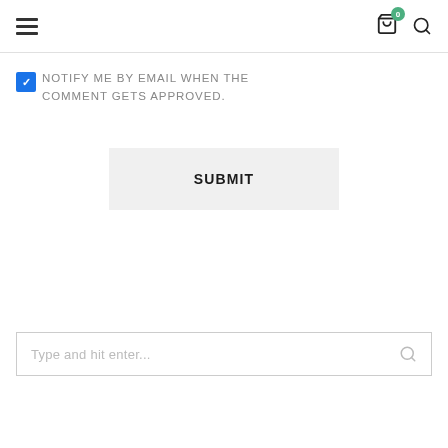Navigation header with hamburger menu, cart icon with badge 0, and search icon
NOTIFY ME BY EMAIL WHEN THE COMMENT GETS APPROVED.
SUBMIT
Type and hit enter...